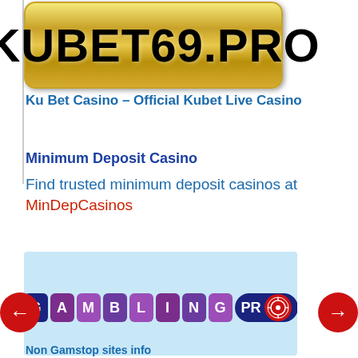[Figure (logo): KUBET69.PRO logo on gold/yellow gradient rounded rectangle background]
Ku Bet Casino – Official Kubet Live Casino
Minimum Deposit Casino
Find trusted minimum deposit casinos at MinDepCasinos
[Figure (logo): GamblingPro logo on light blue background banner]
Non Gamstop sites info